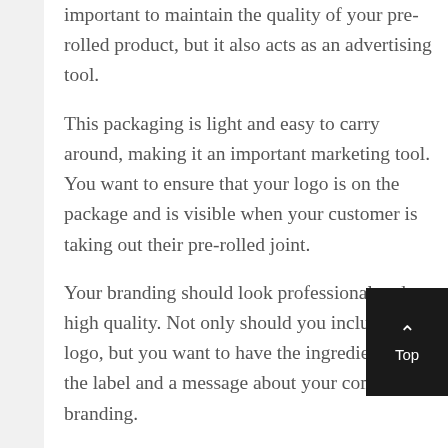important to maintain the quality of your pre-rolled product, but it also acts as an advertising tool.
This packaging is light and easy to carry around, making it an important marketing tool. You want to ensure that your logo is on the package and is visible when your customer is taking out their pre-rolled joint.
Your branding should look professional and high quality. Not only should you include your logo, but you want to have the ingredients on the label and a message about your company's branding.